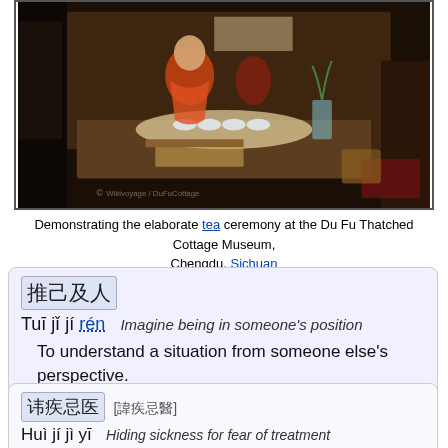[Figure (photo): Photo of a tea ceremony demonstration at the Du Fu Thatched Cottage Museum, Chengdu, Sichuan. A person in orange/red traditional clothing stands behind a table with tea implements, cups, and trays in a dimly lit room.]
Demonstrating the elaborate tea ceremony at the Du Fu Thatched Cottage Museum, Chengdu, Sichuan
推己及人 Tuī jǐ jí rén — Imagine being in someone's position. To understand a situation from someone else's perspective. Roughly equivalent to: Get the bigger picture.
讳疾忌医 [諱疾忌醫] Huì jí jì yī — Hiding sickness for fear of treatment